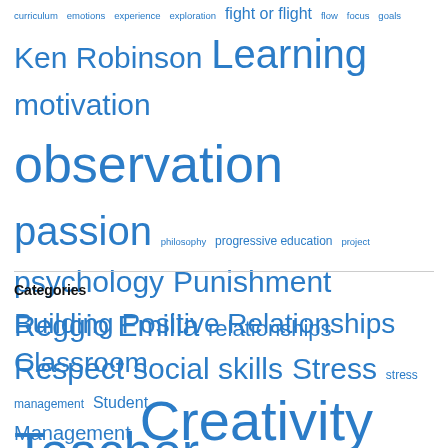[Figure (infographic): Tag cloud with education-related terms in varying sizes in blue: curriculum, emotions, experience, exploration, fight or flight, flow, focus, goals, Ken Robinson, Learning, motivation, observation, passion, philosophy, progressive education, project, psychology, Punishment, Reggio Emilia, relationships, Respect, social skills, Stress, stress management, Student, Teacher, teaching, The Element: How Finding Your Passion Changes Everything, time, tools, understanding, yoga]
Categories
[Figure (infographic): Tag cloud for categories in blue: Building Positive Relationships, Classroom Management (medium), Creativity (large), Early (large)]